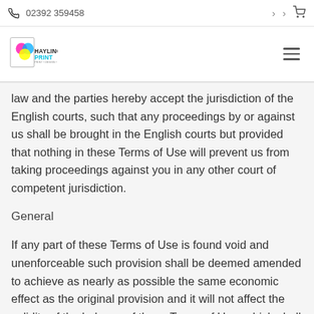02392 359458
[Figure (logo): Hayling Print logo with pink, blue, and yellow circles and text 'HAYLING PRINT · PRINT · DESIGN · CREATE']
law and the parties hereby accept the jurisdiction of the English courts, such that any proceedings by or against us shall be brought in the English courts but provided that nothing in these Terms of Use will prevent us from taking proceedings against you in any other court of competent jurisdiction.
General
If any part of these Terms of Use is found void and unenforceable such provision shall be deemed amended to achieve as nearly as possible the same economic effect as the original provision and it will not affect the validity of the balance of these Terms of Use, which shall remain valid and enforceable according to the terms.